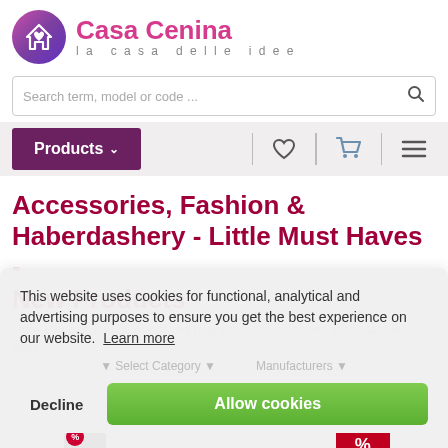[Figure (logo): Casa Cenina logo: purple gradient circle with house/heart icon, brand name 'Casa Cenina' in pink, tagline 'la casa delle idee']
Search term, model or code ...
Products ▼
Accessories, Fashion & Haberdashery - Little Must Haves - New Products
Here you can find all our brand new products uploaded in the last 60 days.
This website uses cookies for functional, analytical and advertising purposes to ensure you get the best experience on our website.  Learn more
Decline
Allow cookies